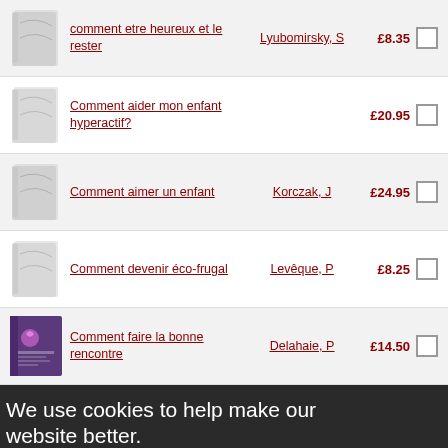| Cover | Title | Author | Price | Select |
| --- | --- | --- | --- | --- |
| [book image] | comment etre heureux et le rester | Lyubomirsky, S | £8.35 | ☐ |
| [book image] | Comment aider mon enfant hyperactif? |  | £20.95 | ☐ |
| [book image] | Comment aimer un enfant | Korczak, J | £24.95 | ☐ |
| [book image] | Comment devenir éco-frugal | Levêque, P | £8.25 | ☐ |
| [book image] | Comment faire la bonne rencontre | Delahaie, P | £14.50 | ☐ |
We use cookies to help make our website better.
We use cookies to help make our website better. At the moment, your preferences allow us to use cookies. If you are happy with this please click here or simply continue to use our website. Otherwise find out more and amend your preferences here.